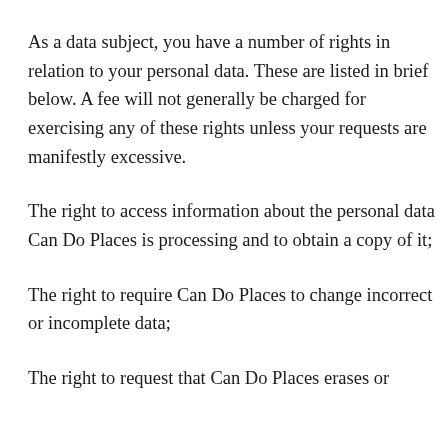As a data subject, you have a number of rights in relation to your personal data. These are listed in brief below. A fee will not generally be charged for exercising any of these rights unless your requests are manifestly excessive.
The right to access information about the personal data Can Do Places is processing and to obtain a copy of it;
The right to require Can Do Places to change incorrect or incomplete data;
The right to request that Can Do Places erases or